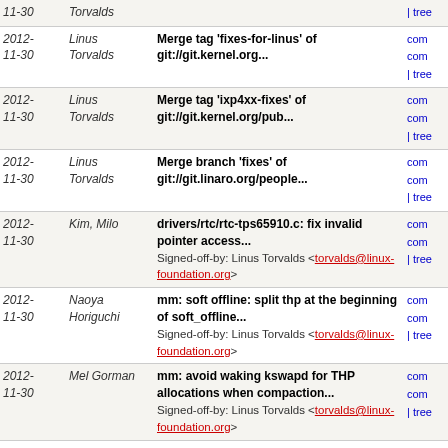| Date | Author | Message | Links |
| --- | --- | --- | --- |
| 2012-11-30 | Torvalds | | tree |  |
| 2012-11-30 | Linus Torvalds | Merge tag 'fixes-for-linus' of git://git.kernel.org... | comm comm | tree |
| 2012-11-30 | Linus Torvalds | Merge tag 'ixp4xx-fixes' of git://git.kernel.org/pub... | comm comm | tree |
| 2012-11-30 | Linus Torvalds | Merge branch 'fixes' of git://git.linaro.org/people... | comm comm | tree |
| 2012-11-30 | Kim, Milo | drivers/rtc/rtc-tps65910.c: fix invalid pointer access... Signed-off-by: Linus Torvalds <torvalds@linux-foundation.org> | comm comm | tree |
| 2012-11-30 | Naoya Horiguchi | mm: soft offline: split thp at the beginning of soft_offline... Signed-off-by: Linus Torvalds <torvalds@linux-foundation.org> | comm comm | tree |
| 2012-11-30 | Mel Gorman | mm: avoid waking kswapd for THP allocations when compaction... Signed-off-by: Linus Torvalds <torvalds@linux-foundation.org> | comm comm | tree |
| 2012-11-30 | Andrew Morton | revert "Revert "mm: remove __GFP_NO_KSWAPD"" Signed-off-by: Linus Torvalds <torvalds@linux-foundation.org> | comm comm | tree |
| 2012-11-30 | Johannes Weiner | mm: vmscan: fix endless loop in kswapd balancing Signed-off-by: Linus Torvalds <torvalds@linux-foundation.org> | comm comm | tree |
| 2012- | Jianguo Wu | mm/vmemmap: fix wrong use of | comm |